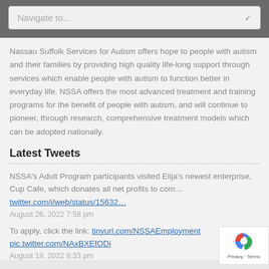Navigate to...
Nassau Suffolk Services for Autism offers hope to people with autism and their families by providing high quality life-long support through services which enable people with autism to function better in everyday life. NSSA offers the most advanced treatment and training programs for the benefit of people with autism, and will continue to pioneer, through research, comprehensive treatment models which can be adopted nationally.
Latest Tweets
NSSA's Adult Program participants visited Elija's newest enterprise, Cup Cafe, which donates all net profits to com… twitter.com/i/web/status/15632…
August 26, 2022 7:58 pm
To apply, click the link: tinyurl.com/NSSAEmployment pic.twitter.com/NAxBXEfODi
August 19, 2022 9:33 pm